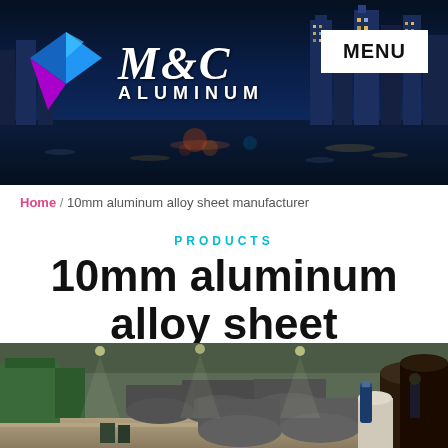[Figure (photo): M&C Aluminum website header with city skyline at night background, company logo (colorful diamond shapes), M&C Aluminum text, and MENU button]
Home / 10mm aluminum alloy sheet manufacturer
PRODUCTS
10mm aluminum alloy sheet manufacturer
[Figure (photo): Industrial factory floor showing large cylindrical aluminum billets/rolls stacked together, with machinery and workers in background]